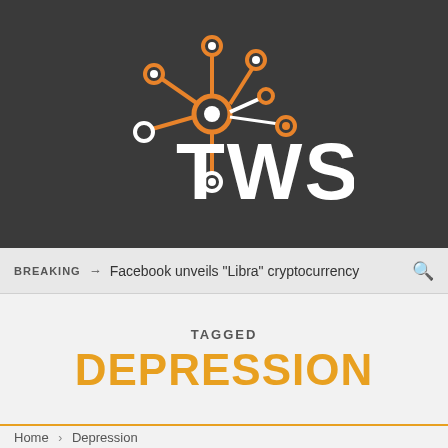[Figure (logo): TWS network/tech logo with orange and white node-and-connector graphic above the letters TWS in white, on dark gray background]
BREAKING → Facebook unveils "Libra" cryptocurrency
TAGGED
DEPRESSION
Home > Depression